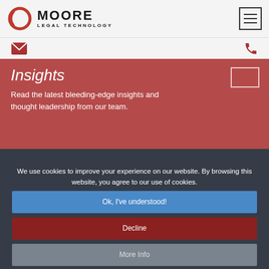[Figure (logo): Moore Legal Technology logo with circular ring icon and bold MOORE text above LEGAL TECHNOLOGY subtitle]
[Figure (other): Hamburger/menu icon — three horizontal lines in a square border]
[Figure (other): Email envelope icon (red) and phone icon (red) in contact bar]
Insights
Read the latest bleeding-edge insights and thought leadership from our team.
We use cookies to improve your experience on our website. By browsing this website, you agree to our use of cookies.
Ok, I've understood!
Decline
More Info